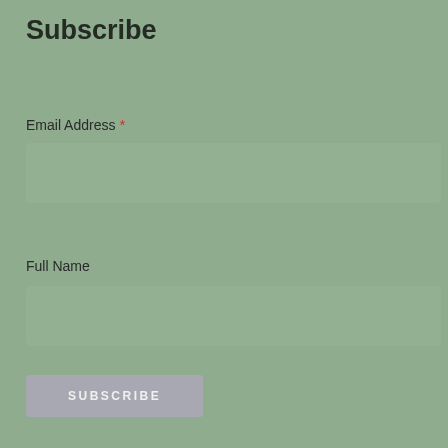Subscribe
Email Address *
Full Name
SUBSCRIBE
[Figure (logo): Mailchimp badge with monkey logo and text 'made with mailchimp' on white rounded rectangle background]